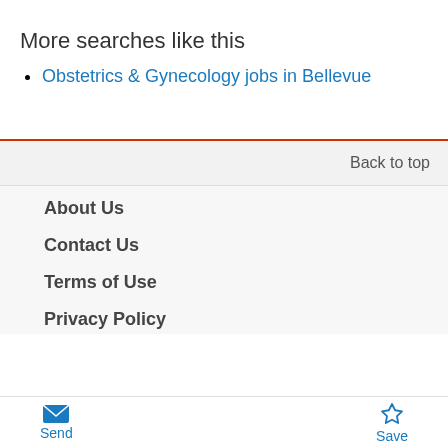More searches like this
Obstetrics & Gynecology jobs in Bellevue
Back to top
About Us
Contact Us
Terms of Use
Privacy Policy
Send  Save